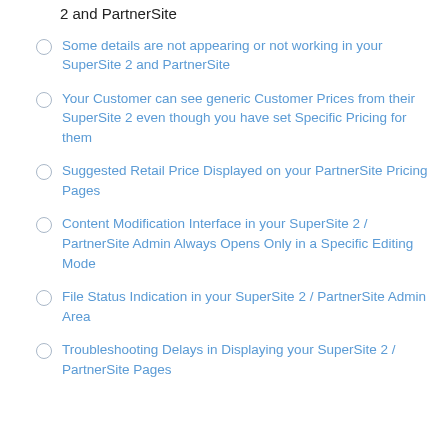2 and PartnerSite
Some details are not appearing or not working in your SuperSite 2 and PartnerSite
Your Customer can see generic Customer Prices from their SuperSite 2 even though you have set Specific Pricing for them
Suggested Retail Price Displayed on your PartnerSite Pricing Pages
Content Modification Interface in your SuperSite 2 / PartnerSite Admin Always Opens Only in a Specific Editing Mode
File Status Indication in your SuperSite 2 / PartnerSite Admin Area
Troubleshooting Delays in Displaying your SuperSite 2 / PartnerSite Pages